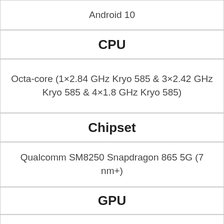| Android 10 |
| CPU |
| Octa-core (1×2.84 GHz Kryo 585 & 3×2.42 GHz Kryo 585 & 4×1.8 GHz Kryo 585) |
| Chipset |
| Qualcomm SM8250 Snapdragon 865 5G (7 nm+) |
| GPU |
| Adreno 650 |
| Internal Memory |